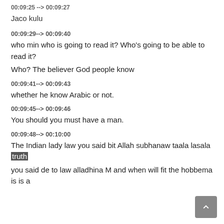00:09:25 --> 00:09:27
Jaco kulu
00:09:29--> 00:09:40
who min who is going to read it? Who's going to be able to read it? Who? The believer God people know
00:09:41--> 00:09:43
whether he know Arabic or not.
00:09:45--> 00:09:46
You should you must have a man.
00:09:48--> 00:10:00
The Indian lady law you said bit Allah subhanaw taala lasala truth you said de to law alladhina M and when will fit the hobbema is is a